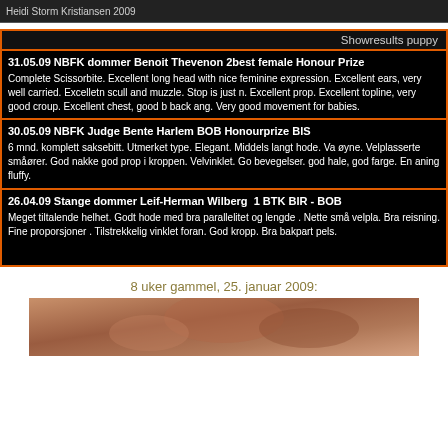Heidi Storm Kristiansen 2009
| Showresults puppy |
| --- |
| 31.05.09 NBFK dommer Benoit Thevenon 2best female Honour Prize | Complete Scissorbite. Excellent long head with nice feminine expression. Excellent ears, very well carried. Excelletn scull and muzzle. Stop is just n. Excellent prop. Excellent topline, very good croup. Excellent chest, good back ang. Very good movement for babies. |
| 30.05.09 NBFK Judge Bente Harlem BOB Honourprize BIS | 6 mnd. komplett saksebitt. Utmerket type. Elegant. Middels langt hode. Va øyne. Velplasserte småører. God nakke god prop i kroppen. Velvinklet. Go bevegelser. god hale, god farge. En aning fluffy. |
| 26.04.09 Stange dommer Leif-Herman Wilberg  1 BTK BIR - BOB | Meget tiltalende helhet. Godt hode med bra parallelitet og lengde . Nette små velpla Bra reisning. Fine proporsjoner . Tilstrekkelig vinklet foran. God kropp. Bra bakpart pels. |
8 uker gammel, 25. januar 2009:
[Figure (photo): Bottom portion of a photo showing what appears to be a cat or animal, brownish/reddish tones]